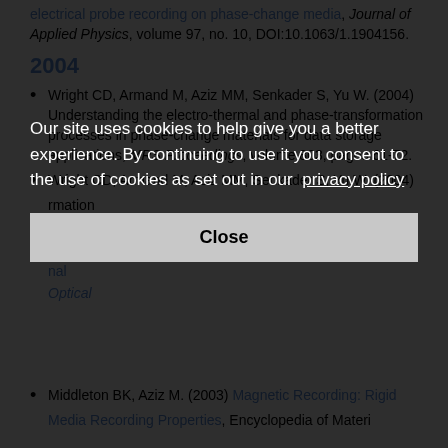electrical probe recording on phase-change media, Journal of Applied Physics, volume 97, no. 10, DOI:10.1063/1.1904156.
2004
Wright CD, Armand M, Aziz MM, Senkader S, Yu W. (2004) Understanding the electro-thermal and phase-transformation processes in phase-change materials for data storage applications, MRS Proceedings, volume 803, pages 61-72.
Wright CD, Armand M, Aziz MM, Senkader S, Yu W. (2004) [partially obscured] ...rmation ...e pages 61-72.
Our site uses cookies to help give you a better experience. By continuing to use it you consent to the use of cookies as set out in our privacy policy
Close
Middleton BK, Aziz M. (2003) Magnetic Recording: Rigid Media Recording Properties, Encyclopedia of Materials...